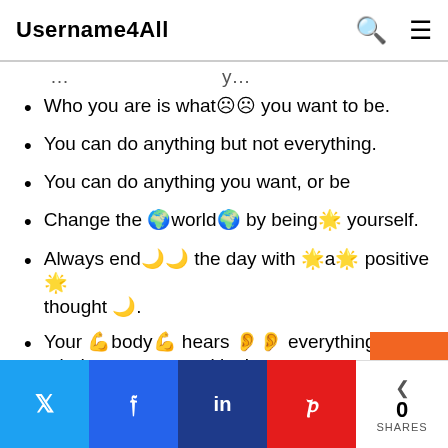Username4All
Who you are is what☹☹ you want to be.
You can do anything but not everything.
You can do anything you want, or be
Change the 🌍world🌍 by being🌟 yourself.
Always end🌙🌙 the day with 🌟a🌟 positive 🌟 thought 🌙.
Your 💪body💪 hears 👂👂 everything your mind says, stay positive!
Attitude and class will always be my first
Twitter share | Facebook share | LinkedIn share | Pinterest share | 0 SHARES